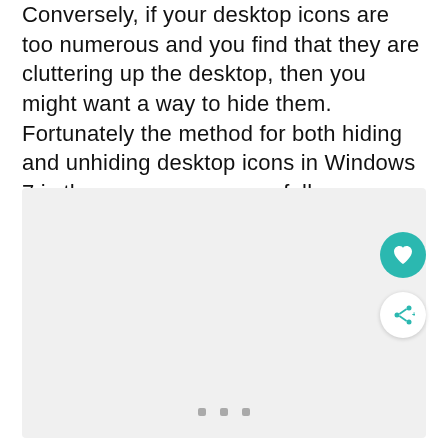Conversely, if your desktop icons are too numerous and you find that they are cluttering up the desktop, then you might want a way to hide them. Fortunately the method for both hiding and unhiding desktop icons in Windows 7 is the same, so you can follow our guide below.
[Figure (screenshot): A light gray placeholder image area with three small gray square dots at the bottom center, and two circular buttons on the right: a teal heart button and a white share button.]